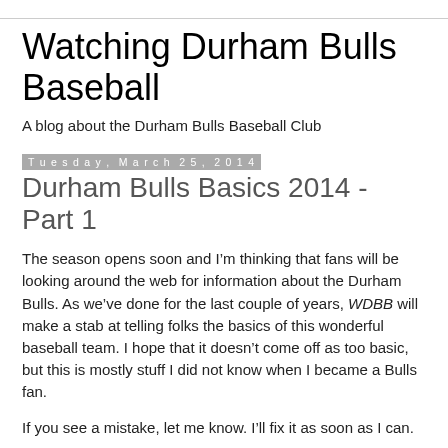Watching Durham Bulls Baseball
A blog about the Durham Bulls Baseball Club
Tuesday, March 25, 2014
Durham Bulls Basics 2014 - Part 1
The season opens soon and I’m thinking that fans will be looking around the web for information about the Durham Bulls. As we’ve done for the last couple of years, WDBB will make a stab at telling folks the basics of this wonderful baseball team. I hope that it doesn’t come off as too basic, but this is mostly stuff I did not know when I became a Bulls fan.
If you see a mistake, let me know. I’ll fix it as soon as I can.